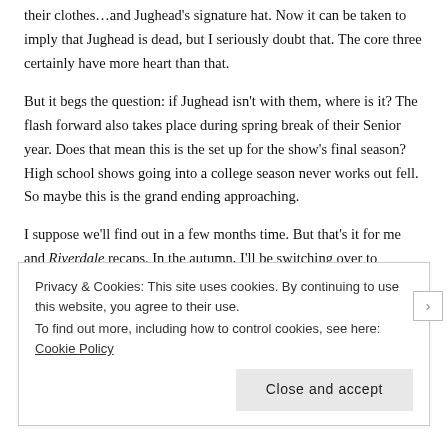their clothes…and Jughead's signature hat. Now it can be taken to imply that Jughead is dead, but I seriously doubt that. The core three certainly have more heart than that.
But it begs the question: if Jughead isn't with them, where is it? The flash forward also takes place during spring break of their Senior year. Does that mean this is the set up for the show's final season? High school shows going into a college season never works out fell. So maybe this is the grand ending approaching.
I suppose we'll find out in a few months time. But that's it for me and Riverdale recaps. In the autumn, I'll be switching over to watching the CW's new Nancy Drew show. If there's one thing I love more than Archie Comics, it's the Drew Crew.
Privacy & Cookies: This site uses cookies. By continuing to use this website, you agree to their use. To find out more, including how to control cookies, see here: Cookie Policy
Close and accept